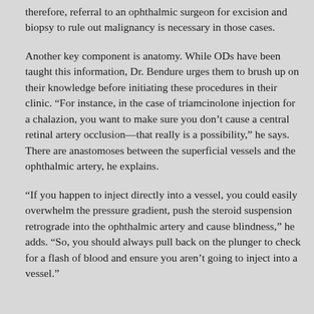therefore, referral to an ophthalmic surgeon for excision and biopsy to rule out malignancy is necessary in those cases.
Another key component is anatomy. While ODs have been taught this information, Dr. Bendure urges them to brush up on their knowledge before initiating these procedures in their clinic. “For instance, in the case of triamcinolone injection for a chalazion, you want to make sure you don’t cause a central retinal artery occlusion—that really is a possibility,” he says. There are anastomoses between the superficial vessels and the ophthalmic artery, he explains.
“If you happen to inject directly into a vessel, you could easily overwhelm the pressure gradient, push the steroid suspension retrograde into the ophthalmic artery and cause blindness,” he adds. “So, you should always pull back on the plunger to check for a flash of blood and ensure you aren’t going to inject into a vessel.”